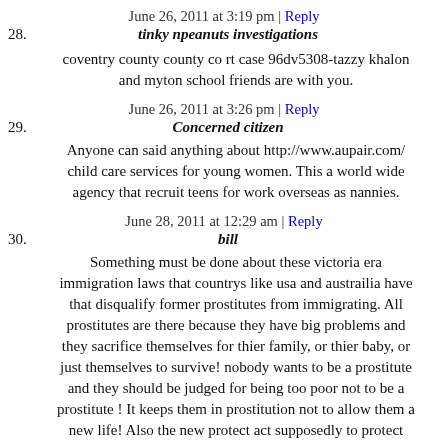June 26, 2011 at 3:19 pm | Reply
28. tinky npeanuts investigations
coventry county county co rt case 96dv5308-tazzy khalon and myton school friends are with you.
June 26, 2011 at 3:26 pm | Reply
29. Concerned citizen
Anyone can said anything about http://www.aupair.com/ child care services for young women. This a world wide agency that recruit teens for work overseas as nannies.
June 28, 2011 at 12:29 am | Reply
30. bill
Something must be done about these victoria era immigration laws that countrys like usa and austrailia have that disqualify former prostitutes from immigrating. All prostitutes are there because they have big problems and they sacrifice themselves for thier family, or thier baby, or just themselves to survive! nobody wants to be a prostitute and they should be judged for being too poor not to be a prostitute ! It keeps them in prostitution not to allow them a new life! Also the new protect act supposedly to protect